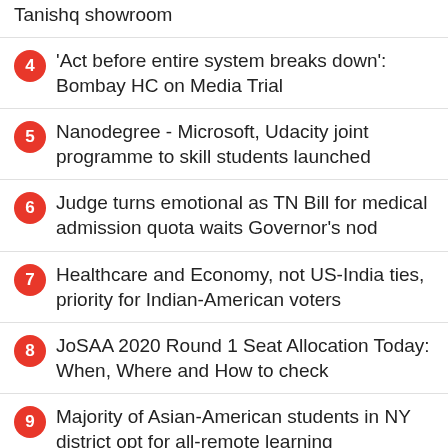Tanishq showroom
4 'Act before entire system breaks down': Bombay HC on Media Trial
5 Nanodegree - Microsoft, Udacity joint programme to skill students launched
6 Judge turns emotional as TN Bill for medical admission quota waits Governor's nod
7 Healthcare and Economy, not US-India ties, priority for Indian-American voters
8 JoSAA 2020 Round 1 Seat Allocation Today: When, Where and How to check
9 Majority of Asian-American students in NY district opt for all-remote learning